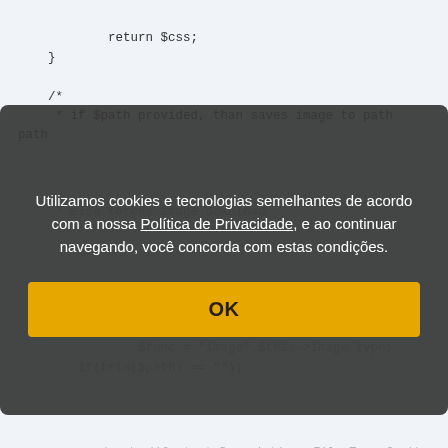return $css;
    }

    /*
     * if $path provided, than saves image to path
     * else forces image download
[Figure (screenshot): Cookie consent modal overlay on top of PHP code editor. Modal has dark semi-transparent background with white text in Portuguese: 'Utilizamos cookies e tecnologias semelhantes de acordo com a nossa Política de Privacidade, e ao continuar navegando, você concorda com estas condições.' Below is a large yellow OK button.]
header('Content-Type: image/'.$this->image_type);
            header('Content-Disposition: attachment; filename=css_sprite.'.$this->image_type);
            header('Content-Transfer-Encoding: binary');